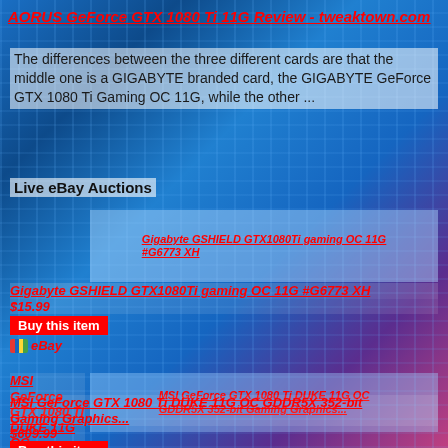AORUS GeForce GTX 1080 Ti 11G Review - tweaktown.com
The differences between the three different cards are that the middle one is a GIGABYTE branded card, the GIGABYTE GeForce GTX 1080 Ti Gaming OC 11G, while the other ...
Live eBay Auctions
[Figure (screenshot): Product image placeholder for Gigabyte GSHIELD GTX1080Ti gaming OC 11G #G6773 XH]
Gigabyte GSHIELD GTX1080Ti gaming OC 11G #G6773 XH
$15.99
Buy this item
Ebay eBay
[Figure (screenshot): Product image placeholder for MSI GeForce GTX 1080 Ti DUKE 11G OC GDDR5X 352-bit Gaming Graphics...]
MSI GeForce GTX 1080 Ti DUKE 11G OC GDDR5X 352-bit Gaming Graphics...
$609.99
Buy this item
Ebay eBay